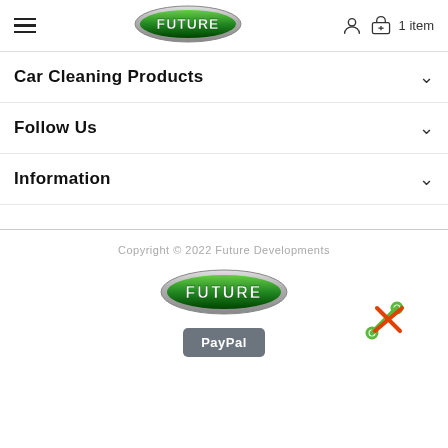Future (logo) — hamburger menu — user icon — 1 item cart
Car Cleaning Products
Follow Us
Information
Copyright © 2022 Future Developments
[Figure (logo): Future Developments green oval logo (footer)]
[Figure (logo): PayPal button]
[Figure (illustration): Green crossed tools/wrench icon]